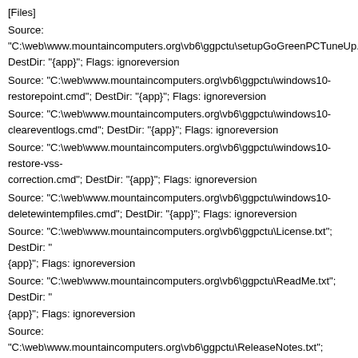[Files]
Source:
"C:\web\www.mountaincomputers.org\vb6\ggpctu\setupGoGreenPCTuneUp.exe";
DestDir: "{app}"; Flags: ignoreversion
Source: "C:\web\www.mountaincomputers.org\vb6\ggpctu\windows10-
restorepoint.cmd"; DestDir: "{app}"; Flags: ignoreversion
Source: "C:\web\www.mountaincomputers.org\vb6\ggpctu\windows10-
cleareventlogs.cmd"; DestDir: "{app}"; Flags: ignoreversion
Source: "C:\web\www.mountaincomputers.org\vb6\ggpctu\windows10-restore-vss-
correction.cmd"; DestDir: "{app}"; Flags: ignoreversion
Source: "C:\web\www.mountaincomputers.org\vb6\ggpctu\windows10-
deletewintempfiles.cmd"; DestDir: "{app}"; Flags: ignoreversion
Source: "C:\web\www.mountaincomputers.org\vb6\ggpctu\License.txt"; DestDir: "
{app}"; Flags: ignoreversion
Source: "C:\web\www.mountaincomputers.org\vb6\ggpctu\ReadMe.txt"; DestDir: "
{app}"; Flags: ignoreversion
Source: "C:\web\www.mountaincomputers.org\vb6\ggpctu\ReleaseNotes.txt";
DestDir: "{app}"; Flags: ignoreversion
Source: "C:\web\www.mountaincomputers.org\vb6\ggpctu\PreRequisites.txt";
DestDir: "{app}"; Flags: ignoreversion